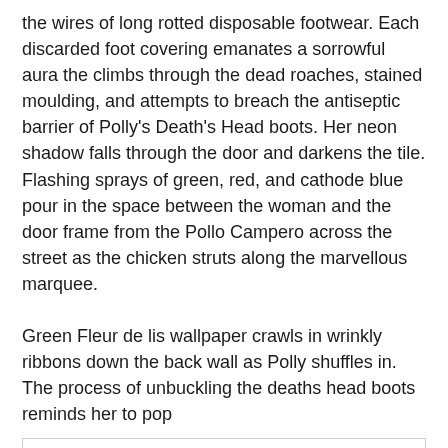the wires of long rotted disposable footwear. Each discarded foot covering emanates a sorrowful aura the climbs through the dead roaches, stained moulding, and attempts to breach the antiseptic barrier of Polly's Death's Head boots. Her neon shadow falls through the door and darkens the tile. Flashing sprays of green, red, and cathode blue pour in the space between the woman and the door frame from the Pollo Campero across the street as the chicken struts along the marvellous marquee.

Green Fleur de lis wallpaper crawls in wrinkly ribbons down the back wall as Polly shuffles in. The process of unbuckling the deaths head boots reminds her to pop
Privacy & Cookies: This site uses cookies. By continuing to use this website, you agree to their use.
To find out more, including how to control cookies, see here: Cookie Policy
Close and accept
younger self. The woman five years her elder, with the